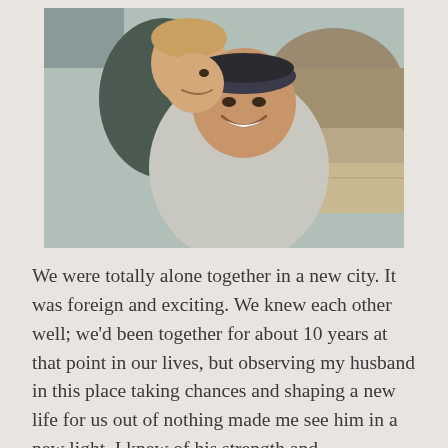[Figure (photo): A selfie photo of a smiling couple outdoors near rocky terrain and a stone wall. The woman is in the foreground wearing a grey hoodie and dark headband, and the man is behind her wearing a dark jacket. They are cheek to cheek.]
We were totally alone together in a new city. It was foreign and exciting. We knew each other well; we'd been together for about 10 years at that point in our lives, but observing my husband in this place taking chances and shaping a new life for us out of nothing made me see him in a new light. I knew of his strength and resourcefulness, but I saw it differently there. I knew he was brilliant and witty, but I witnessed it differently there. I fell